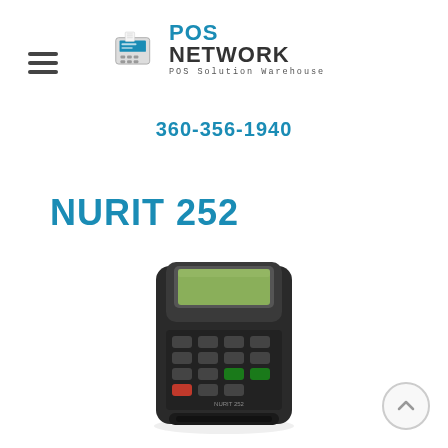[Figure (logo): POS Network logo with POS terminal icon and text 'POS NETWORK POS Solution Warehouse']
360-356-1940
NURIT 252
[Figure (photo): NURIT 252 handheld POS terminal device — black with LCD screen, numeric keypad, red CLR button, green ENT button, and card reader slot at bottom]
[Figure (illustration): Scroll-to-top button (circle with upward arrow)]